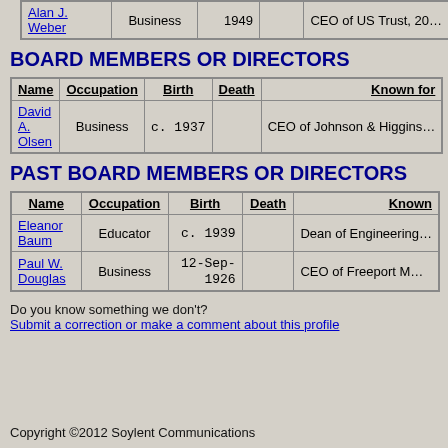| Name | Occupation | Birth | Death | Known for |
| --- | --- | --- | --- | --- |
| Alan J. Weber | Business | 1949 |  | CEO of US Trust, 20... |
BOARD MEMBERS OR DIRECTORS
| Name | Occupation | Birth | Death | Known for |
| --- | --- | --- | --- | --- |
| David A. Olsen | Business | c. 1937 |  | CEO of Johnson & Higgins... |
PAST BOARD MEMBERS OR DIRECTORS
| Name | Occupation | Birth | Death | Known |
| --- | --- | --- | --- | --- |
| Eleanor Baum | Educator | c. 1939 |  | Dean of Engineering... |
| Paul W. Douglas | Business | 12-Sep-1926 |  | CEO of Freeport M... |
Do you know something we don't?
Submit a correction or make a comment about this profile
Copyright ©2012 Soylent Communications